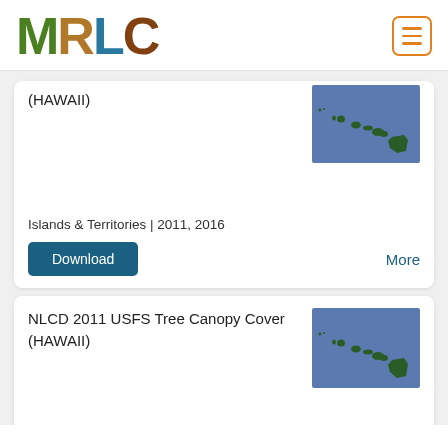[Figure (logo): MRLC logo with colorful nature-textured letters M R L C]
(HAWAII)
[Figure (map): Map thumbnail showing Hawaii islands in blue background]
Islands & Territories | 2011, 2016
Download
More
NLCD 2011 USFS Tree Canopy Cover (HAWAII)
[Figure (map): Map thumbnail showing Hawaii islands in blue background]
Islands & Territories | 2011